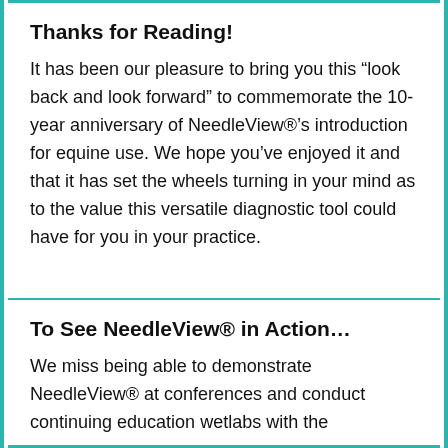Thanks for Reading!
It has been our pleasure to bring you this “look back and look forward” to commemorate the 10-year anniversary of NeedleView®’s introduction for equine use. We hope you’ve enjoyed it and that it has set the wheels turning in your mind as to the value this versatile diagnostic tool could have for you in your practice.
To See NeedleView® in Action…
We miss being able to demonstrate NeedleView® at conferences and conduct continuing education wetlabs with the